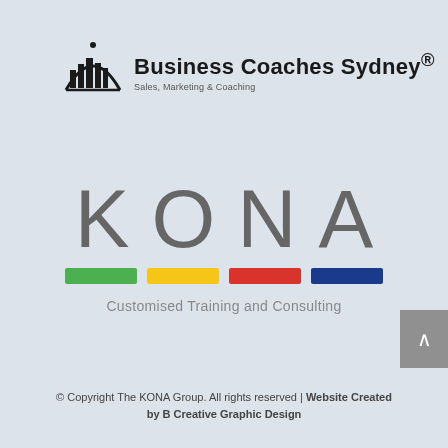[Figure (logo): Business Coaches Sydney logo with city skyline icon and text 'Business Coaches Sydney® Sales, Marketing & Coaching']
[Figure (logo): KONA logo with colored bar strip (green, yellow, red, blue) and tagline 'Customised Training and Consulting']
© Copyright The KONA Group. All rights reserved | Website Created by B Creative Graphic Design